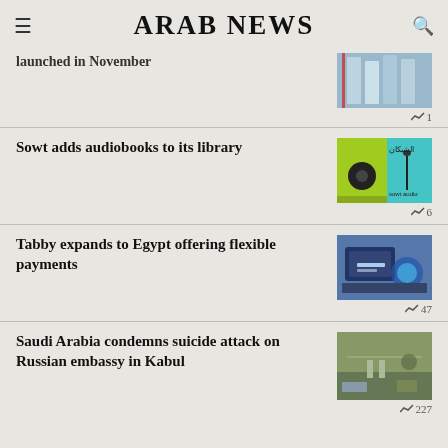ARAB NEWS
launched in November
1
Sowt adds audiobooks to its library
6
Tabby expands to Egypt offering flexible payments
47
Saudi Arabia condemns suicide attack on Russian embassy in Kabul
227